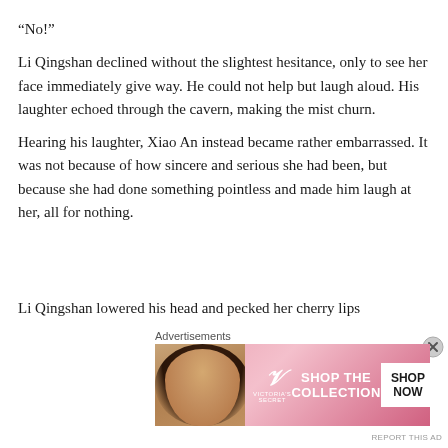“No!”
Li Qingshan declined without the slightest hesitance, only to see her face immediately give way. He could not help but laugh aloud. His laughter echoed through the cavern, making the mist churn.
Hearing his laughter, Xiao An instead became rather embarrassed. It was not because of how sincere and serious she had been, but because she had done something pointless and made him laugh at her, all for nothing.
Li Qingshan lowered his head and pecked her cherry lips
Advertisements
[Figure (photo): Victoria's Secret advertisement banner with a model and text: SHOP THE COLLECTION, SHOP NOW]